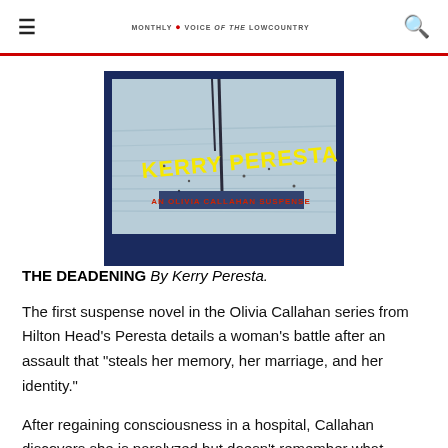≡  MONTHLY VOICE of the LOWCOUNTRY  🔍
[Figure (photo): Book cover of 'The Deadening' by Kerry Peresta — a suspense novel showing water/dock imagery with yellow title text and subtitle 'An Olivia Callahan Suspense']
THE DEADENING By Kerry Peresta.
The first suspense novel in the Olivia Callahan series from Hilton Head's Peresta details a woman's battle after an assault that "steals her memory, her marriage, and her identity."
After regaining consciousness in a hospital, Callahan discovers she is paralyzed but doesn't remember what